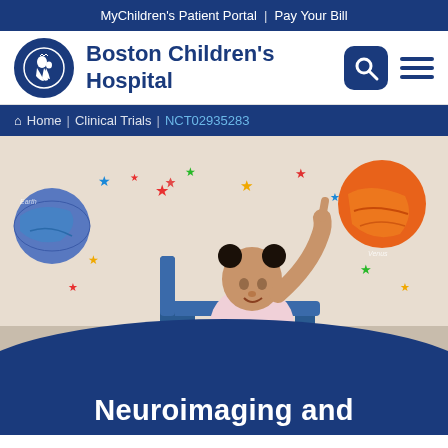MyChildren's Patient Portal | Pay Your Bill
[Figure (logo): Boston Children's Hospital logo with emblem and hospital name, search icon, and menu icon]
Home | Clinical Trials | NCT02935283
[Figure (photo): Young toddler girl sitting in a blue chair, pointing upward, in a room decorated with colorful stars and planet illustrations on the wall]
Neuroimaging and